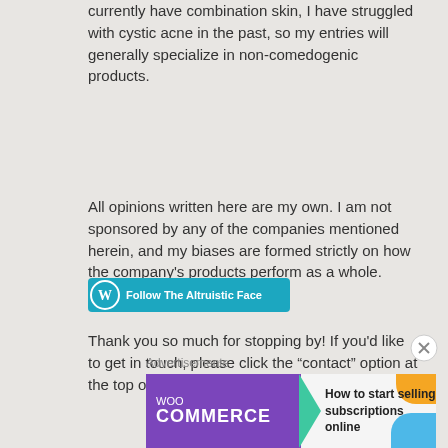currently have combination skin, I have struggled with cystic acne in the past, so my entries will generally specialize in non-comedogenic products.
All opinions written here are my own. I am not sponsored by any of the companies mentioned herein, and my biases are formed strictly on how the company's products perform as a whole.
Thank you so much for stopping by! If you'd like to get in touch, please click the “contact” option at the top of the page!
[Figure (other): Follow The Altruistic Face button with WordPress icon on teal/cyan background]
Advertisements
[Figure (other): WooCommerce advertisement banner: How to start selling subscriptions online]